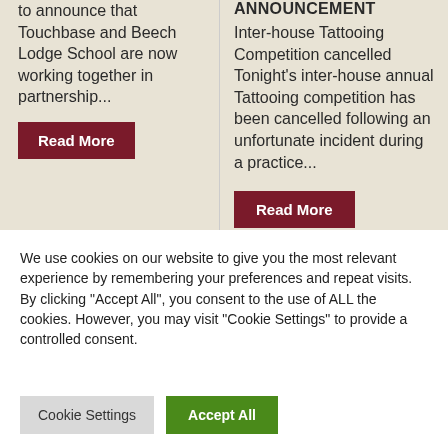to announce that Touchbase and Beech Lodge School are now working together in partnership...
Read More
ANNOUNCEMENT
Inter-house Tattooing Competition cancelled Tonight's inter-house annual Tattooing competition has been cancelled following an unfortunate incident during a practice...
Read More
We use cookies on our website to give you the most relevant experience by remembering your preferences and repeat visits. By clicking “Accept All”, you consent to the use of ALL the cookies. However, you may visit "Cookie Settings" to provide a controlled consent.
Cookie Settings
Accept All